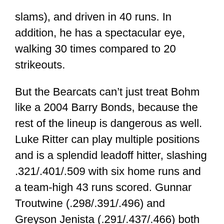slams), and driven in 40 runs. In addition, he has a spectacular eye, walking 30 times compared to 20 strikeouts.
But the Bearcats can't just treat Bohm like a 2004 Barry Bonds, because the rest of the lineup is dangerous as well. Luke Ritter can play multiple positions and is a splendid leadoff hitter, slashing .321/.401/.509 with six home runs and a team-high 43 runs scored. Gunnar Troutwine (.298/.391/.496) and Greyson Jenista (.291/.437/.466) both have a ton of power and a disciplined approach.
Wichita State also has a pretty solid pitching staff, although the strength is more in the bullpen then the starting rotation. Friday starter Codi Heuer has strikeout stuff, with 60 in 56 innings, and he's also